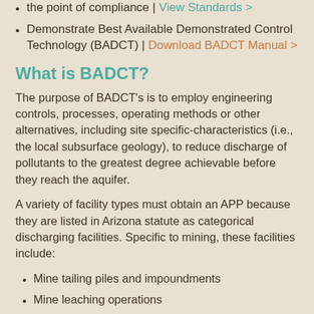the point of compliance | View Standards >
Demonstrate Best Available Demonstrated Control Technology (BADCT) | Download BADCT Manual >
What is BADCT?
The purpose of BADCT's is to employ engineering controls, processes, operating methods or other alternatives, including site specific-characteristics (i.e., the local subsurface geology), to reduce discharge of pollutants to the greatest degree achievable before they reach the aquifer.
A variety of facility types must obtain an APP because they are listed in Arizona statute as categorical discharging facilities. Specific to mining, these facilities include:
Mine tailing piles and impoundments
Mine leaching operations
Process water or non-stormwater